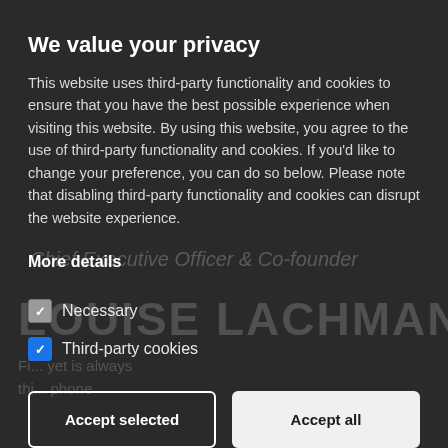We value your privacy
This website uses third-party functionality and cookies to ensure that you have the best possible experience when visiting this website. By using this website, you agree to the use of third-party functionality and cookies. If you'd like to change your preference, you can do so below. Please note that disabling third-party functionality and cookies can disrupt the website experience.
More details
Necessary (checkbox: checked/gray)
Third-party cookies (checkbox: checked/blue)
Accept selected | Accept all